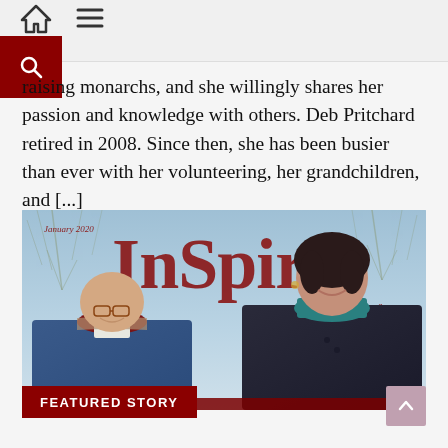Navigation header with home icon, menu icon, and search button
raising monarchs, and she willingly shares her passion and knowledge with others. Deb Pritchard retired in 2008. Since then, she has been busier than ever with her volunteering, her grandchildren, and [...]
[Figure (photo): Cover of InSpire magazine, January 2020 issue. Shows two people smiling outdoors in winter - an older man with glasses and a dark red scarf on the left, and a woman with dark hair wearing a teal turtleneck and dark coat on the right. Magazine title 'InSpire' in large dark red letters, tagline 'Every Woman Has a Story' in italic. Trees visible in background.]
FEATURED STORY